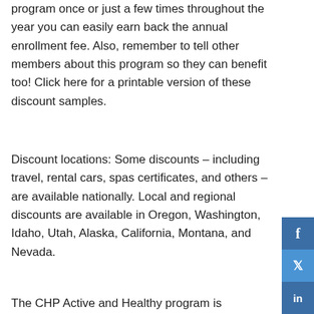program once or just a few times throughout the year you can easily earn back the annual enrollment fee. Also, remember to tell other members about this program so they can benefit too! Click here for a printable version of these discount samples.
Discount locations: Some discounts – including travel, rental cars, spas certificates, and others – are available nationally. Local and regional discounts are available in Oregon, Washington, Idaho, Utah, Alaska, California, Montana, and Nevada.
The CHP Active and Healthy program is